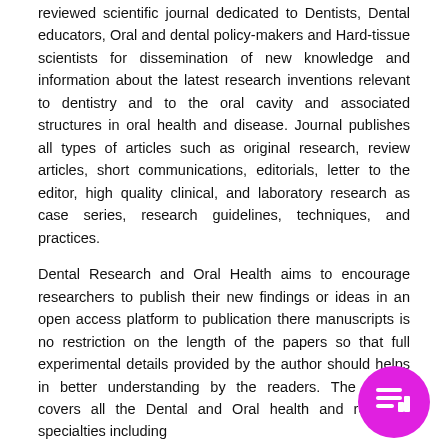reviewed scientific journal dedicated to Dentists, Dental educators, Oral and dental policy-makers and Hard-tissue scientists for dissemination of new knowledge and information about the latest research inventions relevant to dentistry and to the oral cavity and associated structures in oral health and disease. Journal publishes all types of articles such as original research, review articles, short communications, editorials, letter to the editor, high quality clinical, and laboratory research as case series, research guidelines, techniques, and practices.
Dental Research and Oral Health aims to encourage researchers to publish their new findings or ideas in an open access platform to publication there manuscripts is no restriction on the length of the papers so that full experimental details provided by the author should helps in better understanding by the readers. The journal covers all the Dental and Oral health and research specialties including
• Basic Dentistry
• Dental and Oral Health
• Dental and Oral Abnormalities
• Oral Pathology
[Figure (logo): Circular magenta/purple badge icon with a list/document symbol in white]